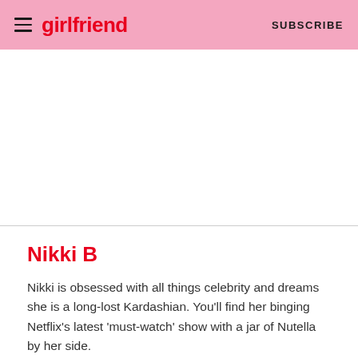girlfriend  SUBSCRIBE
Nikki B
Nikki is obsessed with all things celebrity and dreams she is a long-lost Kardashian. You'll find her binging Netflix's latest 'must-watch' show with a jar of Nutella by her side.